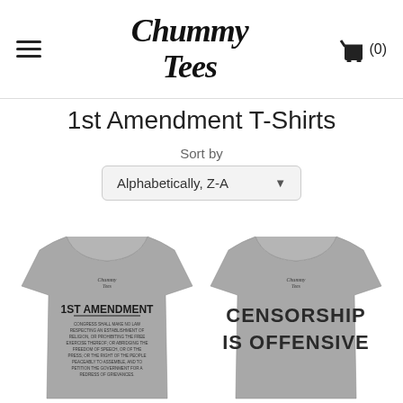Chummy Tees — (0)
1st Amendment T-Shirts
Sort by
Alphabetically, Z-A
[Figure (photo): Two gray t-shirts side by side. Left shirt shows '1ST AMENDMENT' text with the full First Amendment text below it. Right shirt shows 'CENSORSHIP IS OFFENSIVE' text in large block letters.]